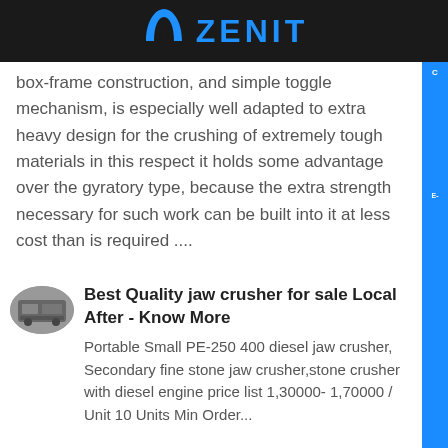ZENIT
box-frame construction, and simple toggle mechanism, is especially well adapted to extra heavy design for the crushing of extremely tough materials in this respect it holds some advantage over the gyratory type, because the extra strength necessary for such work can be built into it at less cost than is required ....
[Figure (photo): Thumbnail image of jaw crusher equipment, circular crop]
Best Quality jaw crusher for sale Local After - Know More
Portable Small PE-250 400 diesel jaw crusher, Secondary fine stone jaw crusher,stone crusher with diesel engine price list 1,30000- 1,70000 / Unit 10 Units Min Order...
[Figure (photo): Thumbnail image of crusher/aggregate equipment, circular crop]
Crusher Aggregate Equipment For Sale